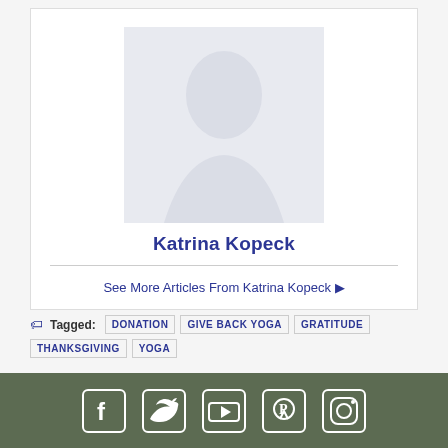[Figure (photo): Faded/light portrait photo of Katrina Kopeck]
Katrina Kopeck
See More Articles From Katrina Kopeck ▶
Tagged: DONATION  GIVE BACK YOGA  GRATITUDE  THANKSGIVING  YOGA
[Figure (infographic): Footer bar with social media icons: Facebook, Twitter, YouTube, Pinterest, Instagram]